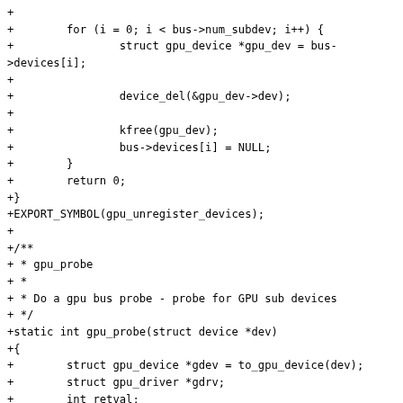code diff showing gpu_probe and gpu_unregister_devices C source